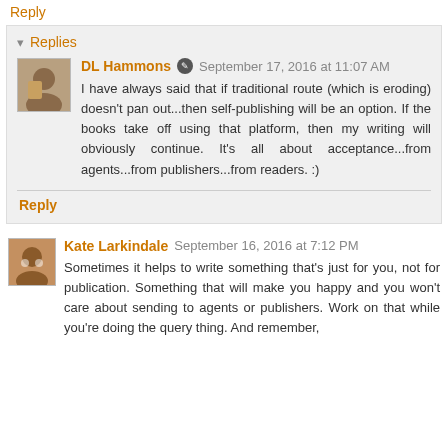Reply
Replies
DL Hammons  September 17, 2016 at 11:07 AM
I have always said that if traditional route (which is eroding) doesn't pan out...then self-publishing will be an option. If the books take off using that platform, then my writing will obviously continue. It's all about acceptance...from agents...from publishers...from readers. :)
Reply
Kate Larkindale  September 16, 2016 at 7:12 PM
Sometimes it helps to write something that's just for you, not for publication. Something that will make you happy and you won't care about sending to agents or publishers. Work on that while you're doing the query thing. And remember,